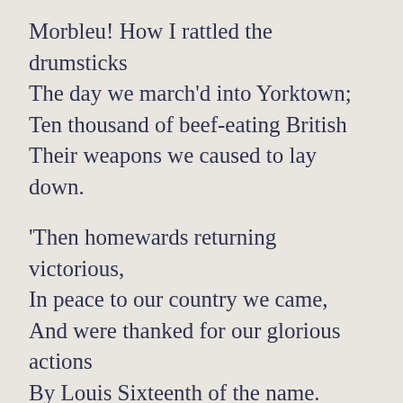Morbleu! How I rattled the drumsticks
The day we march'd into Yorktown;
Ten thousand of beef-eating British
Their weapons we caused to lay down.
'Then homewards returning victorious,
In peace to our country we came,
And were thanked for our glorious actions
By Louis Sixteenth of the name.
What drummer on earth could be prouder
Than I, while I drumm'd at Versailles
To the lovely court ladies in powder,
And lappets, and long satin-tails?
'The Princes that day pass'd before us